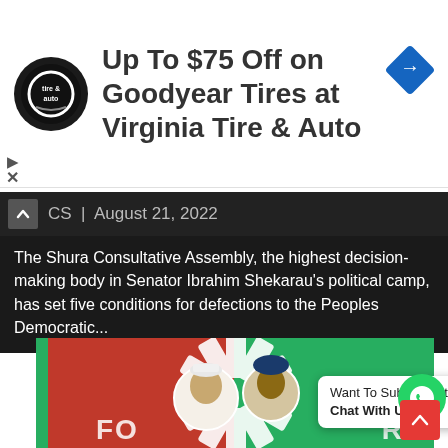[Figure (illustration): Advertisement banner: tire and auto circular logo on left, text 'Up To $75 Off on Goodyear Tires at Virginia Tire & Auto', blue diamond navigation icon on upper right]
CS | August 21, 2022
The Shura Consultative Assembly, the highest decision-making body in Senator Ibrahim Shekarau's political camp, has set five conditions for defections to the Peoples Democratic...
[Figure (photo): Political party image: red and green background with white gear/sun logo, two figures in circular portraits, text 'FOR' visible at bottom. Nigerian political party imagery.]
Want To Submit A Story?
Chat With Us